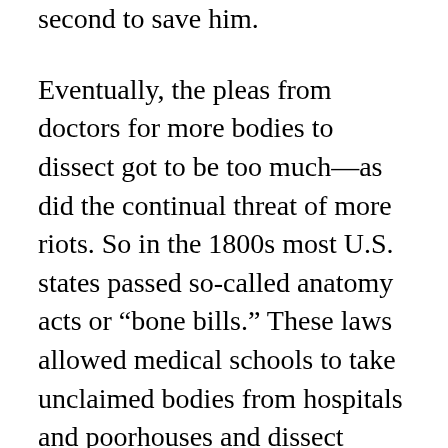to storm into the local hospital at the last second to save him.
Eventually, the pleas from doctors for more bodies to dissect got to be too much—as did the continual threat of more riots. So in the 1800s most U.S. states passed so-called anatomy acts or “bone bills.” These laws allowed medical schools to take unclaimed bodies from hospitals and poorhouses and dissect them, rather than dig bodies out of graves. This quieted the popular fury.
But if the bone bills cut down on the riots, these laws still seemed ethically dubious to some people at the time. B...